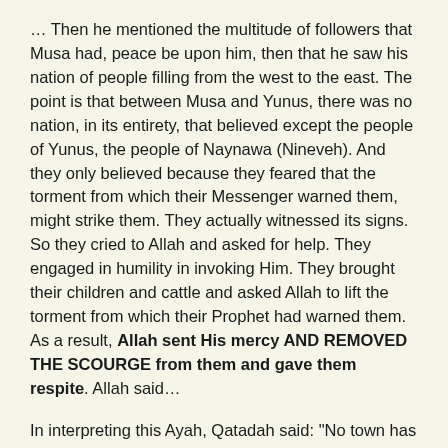… Then he mentioned the multitude of followers that Musa had, peace be upon him, then that he saw his nation of people filling from the west to the east. The point is that between Musa and Yunus, there was no nation, in its entirety, that believed except the people of Yunus, the people of Naynawa (Nineveh). And they only believed because they feared that the torment from which their Messenger warned them, might strike them. They actually witnessed its signs. So they cried to Allah and asked for help. They engaged in humility in invoking Him. They brought their children and cattle and asked Allah to lift the torment from which their Prophet had warned them. As a result, Allah sent His mercy AND REMOVED THE SCOURGE from them and gave them respite. Allah said…
In interpreting this Ayah, Qatadah said: "No town has denied the truth and then believed when they saw the scourge, and then their belief benefited them, with the exception of the people of Yunus.